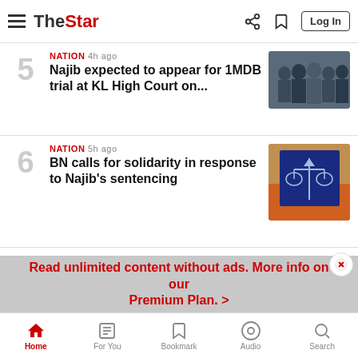The Star — Navigation bar with logo, share, bookmark, and Log In button
NATION 4h ago — Najib expected to appear for 1MDB trial at KL High Court on...
NATION 5h ago — BN calls for solidarity in response to Najib's sentencing
NATION 6h ago — Najib has till end of his 1...
Read unlimited content without ads. More info on our Premium Plan. >
Home | For You | Bookmark | Audio | Search